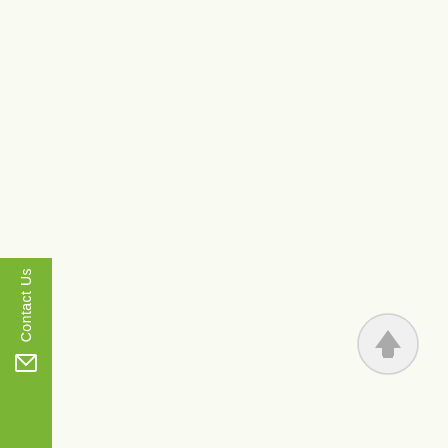[Figure (other): Green vertical 'Contact Us' tab on the left side with a mail envelope icon, and a circular scroll-to-top button with an upward arrow on the right side of the page. The background is a light cream/off-white color.]